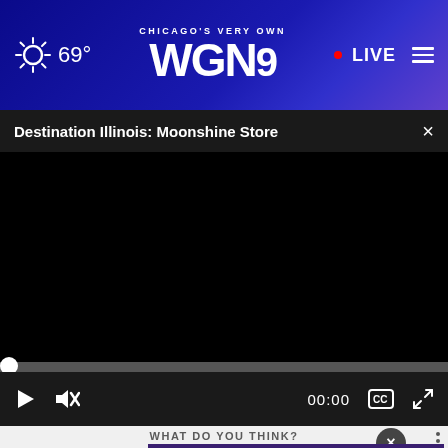69° CHICAGO'S VERY OWN WGN9 • LIVE
Destination Illinois: Moonshine Store
[Figure (screenshot): Black video player area showing a paused video titled 'Destination Illinois: Moonshine Store' on WGN9 website with playback controls showing 00:00]
WHAT DO YOU THINK?
Do you... Presi...
[Figure (photo): Advertisement showing two men outdoors with text: If you're noticing changes, it could be Alzheimer's. Visit a doctor together.]